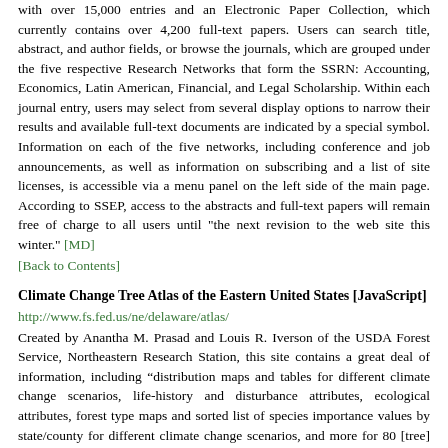with over 15,000 entries and an Electronic Paper Collection, which currently contains over 4,200 full-text papers. Users can search title, abstract, and author fields, or browse the journals, which are grouped under the five respective Research Networks that form the SSRN: Accounting, Economics, Latin American, Financial, and Legal Scholarship. Within each journal entry, users may select from several display options to narrow their results and available full-text documents are indicated by a special symbol. Information on each of the five networks, including conference and job announcements, as well as information on subscribing and a list of site licenses, is accessible via a menu panel on the left side of the main page. According to SSEP, access to the abstracts and full-text papers will remain free of charge to all users until "the next revision to the web site this winter." [MD]
[Back to Contents]
Climate Change Tree Atlas of the Eastern United States [JavaScript]
http://www.fs.fed.us/ne/delaware/atlas/
Created by Anantha M. Prasad and Louis R. Iverson of the USDA Forest Service, Northeastern Research Station, this site contains a great deal of information, including “distribution maps and tables for different climate change scenarios, life-history and disturbance attributes, ecological attributes, forest type maps and sorted list of species importance values by state/county for different climate change scenarios, and more for 80 [tree] species in the eastern half of the United States.” While the authors have taken steps to make the atlas as easy to use as possible, the site recommends that users read the introduction and tips to avoid quickly getting lost in all the available information. After launching the atlas, users can browse by a quick species reference list or alphabetically. A sample browse on "willow" returned a life history and disturbance response fact sheet, four ecological attributes graphs or charts, eight distribution maps, and seven distribution tables. Various help and FAQ links are provided throughout the site. [MD]
[Back to Contents]